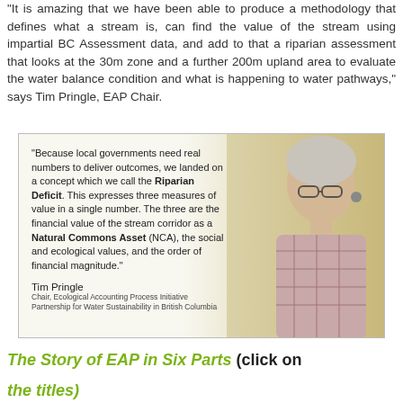“It is amazing that we have been able to produce a methodology that defines what a stream is, can find the value of the stream using impartial BC Assessment data, and add to that a riparian assessment that looks at the 30m zone and a further 200m upland area to evaluate the water balance condition and what is happening to water pathways,” says Tim Pringle, EAP Chair.
[Figure (photo): Photo of Tim Pringle with a quote overlay. Quote reads: 'Because local governments need real numbers to deliver outcomes, we landed on a concept which we call the Riparian Deficit. This expresses three measures of value in a single number. The three are the financial value of the stream corridor as a Natural Commons Asset (NCA), the social and ecological values, and the order of financial magnitude.' Attribution: Tim Pringle, Chair, Ecological Accounting Process Initiative, Partnership for Water Sustainability in British Columbia.]
The Story of EAP in Six Parts (click on the titles)